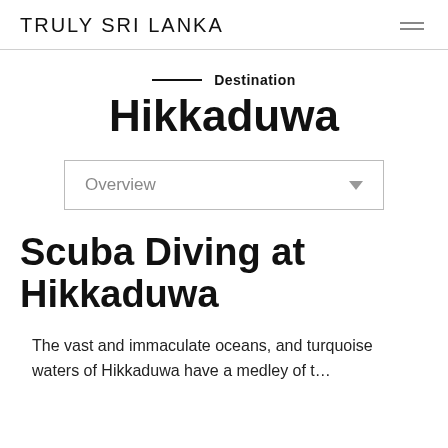TRULY SRI LANKA
Destination
Hikkaduwa
Overview
Scuba Diving at Hikkaduwa
The vast and immaculate oceans, and turquoise waters of Hikkaduwa have a medley of t...